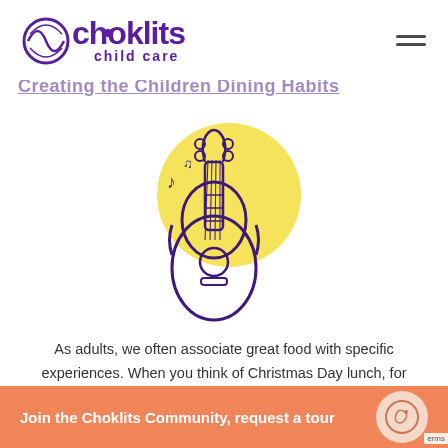Choklits Child Care
Creating the Children Dining...
[Figure (illustration): Line drawing of an acoustic guitar with musical notes, set against a yellow circle background, drawn in purple/dark blue outline style]
As adults, we often associate great food with specific experiences. When you think of Christmas Day lunch, for example, you probably think of having a great time with your family and friends. When you think of your favourite food, you mi...
Join the Choklits Community, request a tour